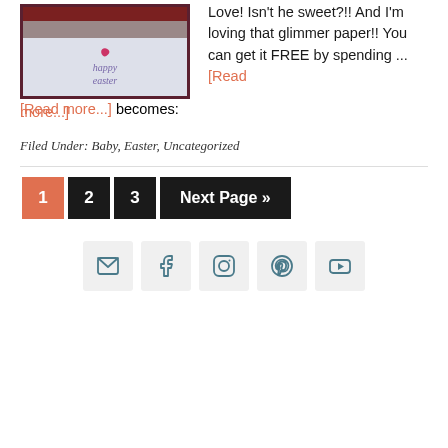[Figure (photo): Photo of a handmade Easter card with 'happy easter' text on white paper with dark wood frame background, featuring a small pink/red heart shape at top]
Love! Isn't he sweet?!!  And I'm loving that glimmer paper!!  You can get it FREE by spending ... [Read more...]
Filed Under: Baby, Easter, Uncategorized
1 2 3 Next Page »
[Figure (infographic): Social media icons row: email/envelope, Facebook, Instagram, Pinterest, YouTube]